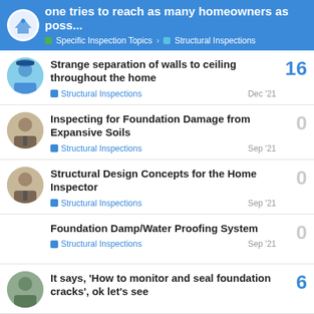one tries to reach as many homeowners as poss... | Specific Inspection Topics > Structural Inspections
Strange separation of walls to ceiling throughout the home | Structural Inspections | Dec '21 | 16 replies
Inspecting for Foundation Damage from Expansive Soils | Structural Inspections | Sep '21 | 0 replies
Structural Design Concepts for the Home Inspector | Structural Inspections | Sep '21 | 0 replies
Foundation Damp/Water Proofing System | Structural Inspections | Sep '21 | 0 replies
It says, 'How to monitor and seal foundation cracks', ok let's see | 6 replies